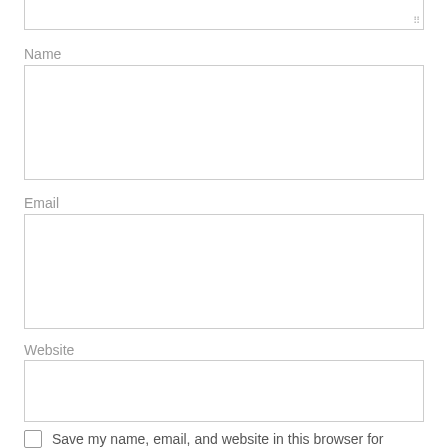Name
Email
Website
Save my name, email, and website in this browser for